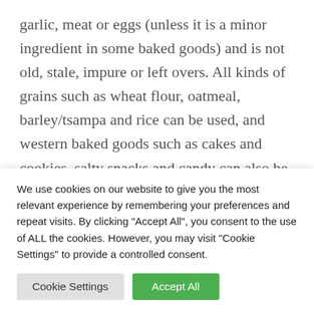garlic, meat or eggs (unless it is a minor ingredient in some baked goods) and is not old, stale, impure or left overs. All kinds of grains such as wheat flour, oatmeal, barley/tsampa and rice can be used, and western baked goods such as cakes and cookies, salty snacks and candy can also be offered. The fire itself is traditionally best made with wood from fruit trees or
We use cookies on our website to give you the most relevant experience by remembering your preferences and repeat visits. By clicking "Accept All", you consent to the use of ALL the cookies. However, you may visit "Cookie Settings" to provide a controlled consent.